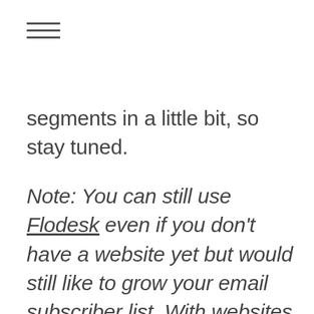[Figure (other): Hamburger menu icon with three horizontal lines]
segments in a little bit, so stay tuned.
Note: You can still use Flodesk even if you don't have a website yet but would still like to grow your email subscriber list. With websites like bit.ly you can still use the URL from the published form so that people can still join your list. A third-party